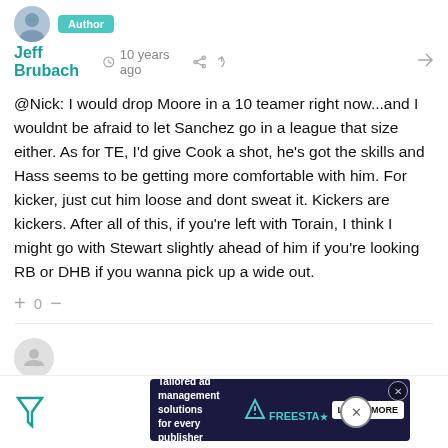Jeff Brubach · Author · 10 years ago
@Nick: I would drop Moore in a 10 teamer right now...and I wouldnt be afraid to let Sanchez go in a league that size either. As for TE, I'd give Cook a shot, he's got the skills and Hass seems to be getting more comfortable with him. For kicker, just cut him loose and dont sweat it. Kickers are kickers. After all of this, if you're left with Torain, I think I might go with Stewart slightly ahead of him if you're looking RB or DHB if you wanna pick up a wide out.
Blain Train · 10 years ago
Hi Jeff, I've got terrible luck with injuries so far this season. I knew what I was getting into with Foster when drafting, but Britt, Blount, and now